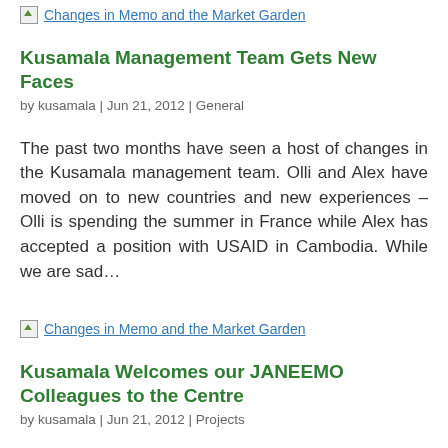[Figure (other): Broken image placeholder for 'Changes in Memo and the Market Garden']
Kusamala Management Team Gets New Faces
by kusamala | Jun 21, 2012 | General
The past two months have seen a host of changes in the Kusamala management team. Olli and Alex have moved on to new countries and new experiences – Olli is spending the summer in France while Alex has accepted a position with USAID in Cambodia. While we are sad...
[Figure (other): Broken image placeholder for 'Changes in Memo and the Market Garden']
Kusamala Welcomes our JANEEMO Colleagues to the Centre
by kusamala | Jun 21, 2012 | Projects